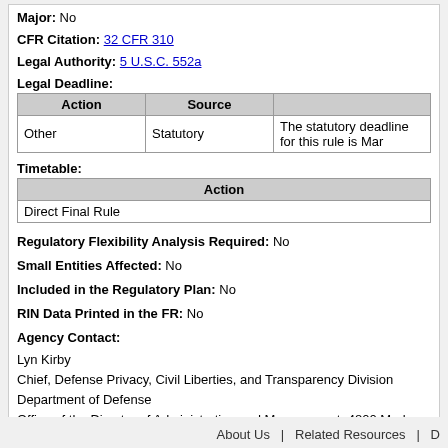Major: No
CFR Citation: 32 CFR 310
Legal Authority: 5 U.S.C. 552a
Legal Deadline:
| Action | Source |  |
| --- | --- | --- |
| Other | Statutory | The statutory deadline for this rule is Mar... |
Timetable:
| Action |
| --- |
| Direct Final Rule |
Regulatory Flexibility Analysis Required: No
Small Entities Affected: No
Included in the Regulatory Plan: No
RIN Data Printed in the FR: No
Agency Contact:
Lyn Kirby
Chief, Defense Privacy, Civil Liberties, and Transparency Division
Department of Defense
Office of the Director of Administration and Management, 4800 Mark Center D...
Alexandria, VA 22350
Phone:703 571-0070
Email: osd.ncr.odam.mbx.dpcltd-correspondence@mail.mil
About Us  |  Related Resources  |  D